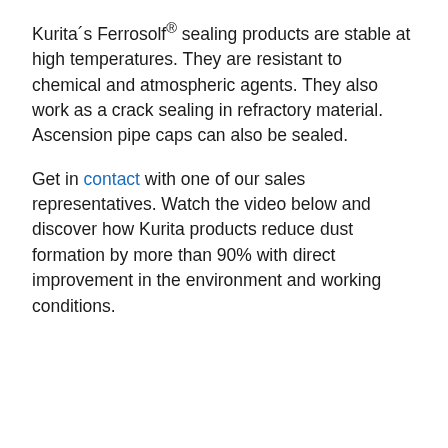Kurita´s Ferrosolf® sealing products are stable at high temperatures. They are resistant to chemical and atmospheric agents. They also work as a crack sealing in refractory material. Ascension pipe caps can also be sealed.
Get in contact with one of our sales representatives. Watch the video below and discover how Kurita products reduce dust formation by more than 90% with direct improvement in the environment and working conditions.